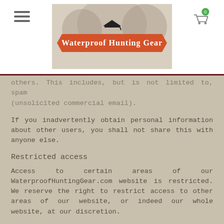Waterproof Hunting Gear
others. This includes, but is not limited to, spam (unsolicited commercial email).
If you inadvertently obtain personal information about other users, you shall not share this with anyone else.
Restricted access
Access to certain areas of our WaterproofHuntingGear.com website is restricted. We reserve the right to restrict access to other areas of our website, or indeed our whole website, at our discretion.
If we provide you with a user ID (username) and password to enable you to access restricted areas of our website or other content or services, you must ensure that that user ID and password is kept confidential. You may not share your user ID and/or